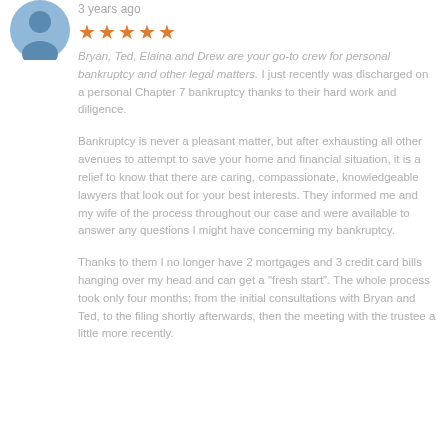[Figure (illustration): Blue circular avatar icon with a person silhouette]
3 years ago
★★★★★  Bryan, Ted, Elaina and Drew are your go-to crew for personal bankruptcy and other legal matters. I just recently was discharged on a personal Chapter 7 bankruptcy thanks to their hard work and diligence.
Bankruptcy is never a pleasant matter, but after exhausting all other avenues to attempt to save your home and financial situation, it is a relief to know that there are caring, compassionate, knowledgeable lawyers that look out for your best interests. They informed me and my wife of the process throughout our case and were available to answer any questions I might have concerning my bankruptcy.
Thanks to them I no longer have 2 mortgages and 3 credit card bills hanging over my head and can get a "fresh start". The whole process took only four months; from the initial consultations with Bryan and Ted, to the filing shortly afterwards, then the meeting with the trustee a little more recently.